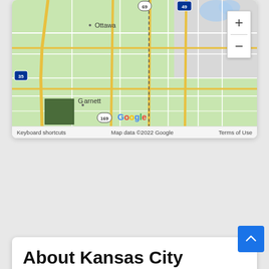[Figure (map): Google Maps screenshot showing the area south of Kansas City, Missouri, including Ottawa, Garnett, and surrounding region with highways 35, 69, 49, 169 visible. A green square marker is shown near Garnett.]
Keyboard shortcuts   Map data ©2022 Google   Terms of Use
About Kansas City
Kansas City (abbreviated KC or KCMO) is the largest city in Missouri by population and area. According to the U.S. Census Bureau, the city had a population of 508,090 in 2020, and was the 36th most-populous city in the United States as of the 2020 census. It is the most populated municipality and historic core city of